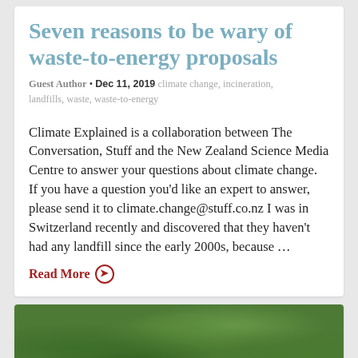Seven reasons to be wary of waste-to-energy proposals
Guest Author • Dec 11, 2019 climate change, incineration, landfills, waste, waste-to-energy
Climate Explained is a collaboration between The Conversation, Stuff and the New Zealand Science Media Centre to answer your questions about climate change. If you have a question you'd like an expert to answer, please send it to climate.change@stuff.co.nz I was in Switzerland recently and discovered that they haven't had any landfill since the early 2000s, because …
Read More →
[Figure (photo): Close-up photo of green leaves, partially brown/wilted, outdoor nature scene]